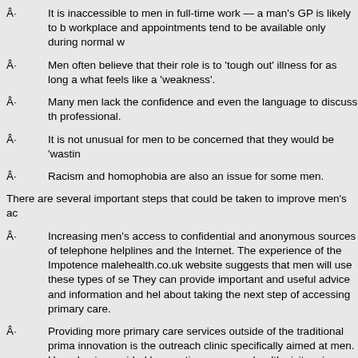It is inaccessible to men in full-time work — a man's GP is likely to be near the workplace and appointments tend to be available only during normal working hours.
Men often believe that their role is to 'tough out' illness for as long as possible and resist what feels like a 'weakness'.
Many men lack the confidence and even the language to discuss their health with a professional.
It is not unusual for men to be concerned that they would be 'wasting' the doctor's time.
Racism and homophobia are also an issue for some men.
There are several important steps that could be taken to improve men's access to primary care:
Increasing men's access to confidential and anonymous sources of information such as telephone helplines and the Internet. The experience of the Impotence Association and the malehealth.co.uk website suggests that men will use these types of services extensively. They can provide important and useful advice and information and help men to think about taking the next step of accessing primary care.
Providing more primary care services outside of the traditional primary care setting. One innovation is the outreach clinic specifically aimed at men. Here, basic health checks can be provided by practice nurses or health visitors in a male-friendly environment. The evidence suggests that outreach clinics are popular, detect potentially serious disease (e.g. hypertension) and result in more men seeing a GP. This type of intervention can be offered in community centres, barbers' shops, garages, leisure and shopping centres and workplaces. NHS Walk-In Clinics are also a potentially important new service for men and it is important to target this group and evaluate their effectiveness.